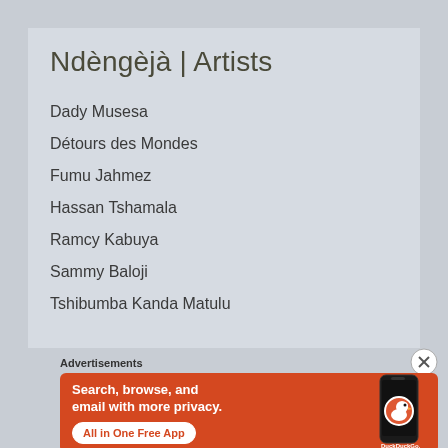Ndèngèjà | Artists
Dady Musesa
Détours des Mondes
Fumu Jahmez
Hassan Tshamala
Ramcy Kabuya
Sammy Baloji
Tshibumba Kanda Matulu
Advertisements
[Figure (screenshot): DuckDuckGo advertisement banner: orange background with text 'Search, browse, and email with more privacy. All in One Free App' and DuckDuckGo logo with phone image on right side]